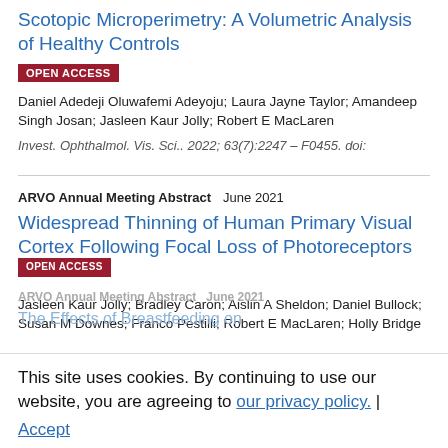Scotopic Microperimetry: A Volumetric Analysis of Healthy Controls
OPEN ACCESS
Daniel Adedeji Oluwafemi Adeyoju; Laura Jayne Taylor; Amandeep Singh Josan; Jasleen Kaur Jolly; Robert E MacLaren
Invest. Ophthalmol. Vis. Sci.. 2022; 63(7):2247 – F0455. doi:
ARVO Annual Meeting Abstract   June 2021
Widespread Thinning of Human Primary Visual Cortex Following Focal Loss of Photoreceptors
OPEN ACCESS
Jasleen Kaur Jolly; Bradley Caron; Aislin A Sheldon; Daniel Bullock; Susan M Downes; Franco Pestilli; Robert E MacLaren; Holly Bridge
This site uses cookies. By continuing to use our website, you are agreeing to our privacy policy.
Accept
ARVO Annual Meeting Abstract   June 2021
The Effects of Breastfeeding on